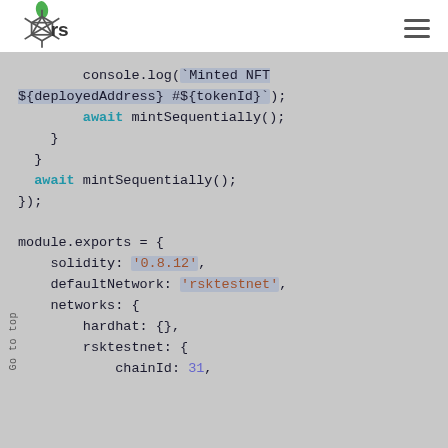rsk
[Figure (screenshot): Code snippet showing JavaScript/Node.js code with console.log, await mintSequentially(), module.exports with solidity, defaultNetwork, networks (hardhat, rsktestnet, chainId: 31)]